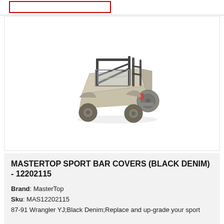[Figure (photo): Product photo of a Jeep Wrangler YJ with MasterTop Sport Bar Covers installed, shown from rear three-quarter angle on white/light gray background]
MASTERTOP SPORT BAR COVERS (BLACK DENIM) - 12202115
Brand: MasterTop
Sku: MAS12202115
87-91 Wrangler YJ;Black Denim;Replace and up-grade your sport